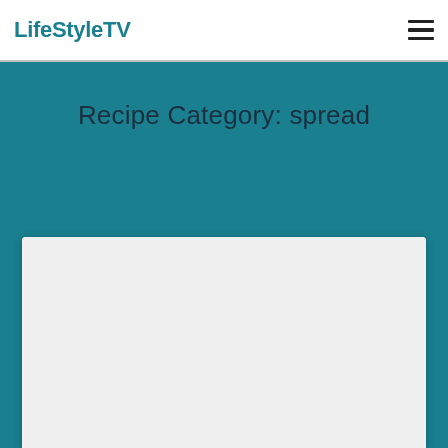LifeStyleTV
Recipe Category: spread
[Figure (photo): White card with image area (image not visible/blank)]
Brazil Nut Spread